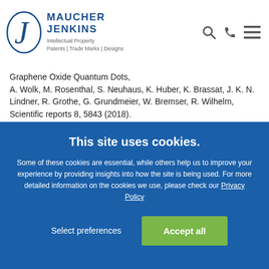[Figure (logo): Maucher Jenkins logo with stylized J monogram and text 'MAUCHER JENKINS Intellectual Property Patents | Trade Marks | Designs']
Graphene Oxide Quantum Dots, A. Wolk, M. Rosenthal, S. Neuhaus, K. Huber, K. Brassat, J. K. N. Lindner, R. Grothe, G. Grundmeier, W. Bremser, R. Wilhelm, Scientific reports 8, 5843 (2018).
- 2D switchable blue phase gratings manufactured by nanosphere lithography,
This site uses cookies.
Some of these cookies are essential, while others help us to improve your experience by providing insights into how the site is being used. For more detailed information on the cookies we use, please check our Privacy Policy
Select preferences
Accept all